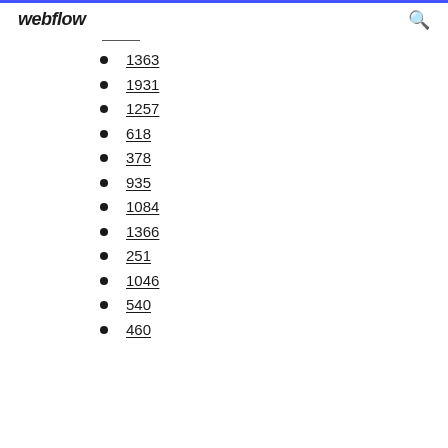webflow
1363
1931
1257
618
378
935
1084
1366
251
1046
540
460